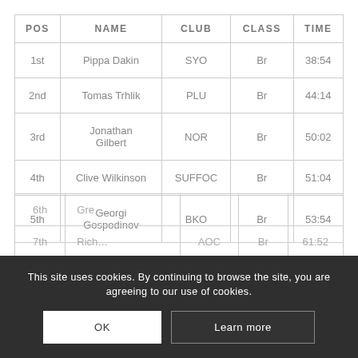| POS | NAME | CLUB | CLASS | TIME |
| --- | --- | --- | --- | --- |
| 1st | Pippa Dakin | SYO | Br | 38:54 |
| 2nd | Tomas Trhlik | PLU | Br | 44:14 |
| 3rd | Jonathan Gilbert | NOR | Br | 50:02 |
| 4th | Clive Wilkinson | SUFFOC | Br | 51:04 |
| 5th | Georgi Gospodinov | BKO | Br | 53:54 |
| 6th | Gre... |  |  |  |
| 7th | Rich... | AOC | Br | 61:52 |
This site uses cookies. By continuing to browse the site, you are agreeing to our use of cookies.